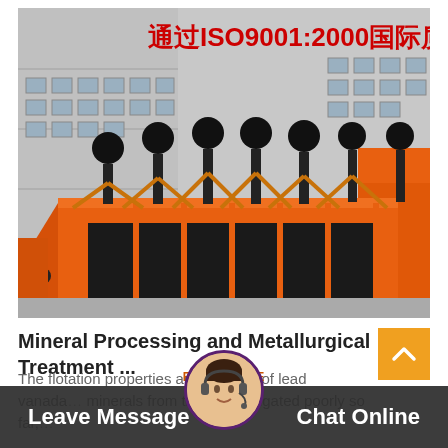[Figure (photo): Orange flotation processing machines lined up in a factory yard. Multiple cells with black spindle mechanisms on top and angled arms. Building in background with red Chinese text ISO9001:2000 quality certification banner.]
Mineral Processing and Metallurgical Treatment ...
The flotation properties and flotation of lead vanada... minerals from the ore ... stigated poorly so far,...
Leave Message   Chat Online